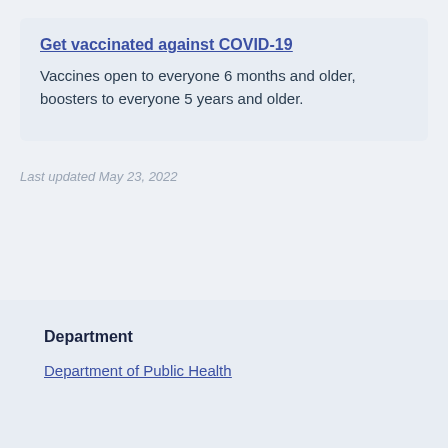Get vaccinated against COVID-19
Vaccines open to everyone 6 months and older, boosters to everyone 5 years and older.
Last updated May 23, 2022
Department
Department of Public Health